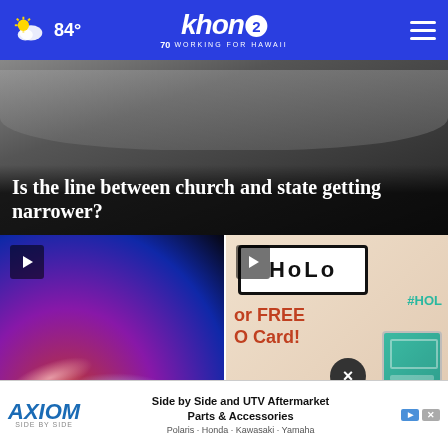KHON2 — 84° — Working for Hawaii
[Figure (screenshot): Hero image with blurred laptop/device closeup, dark overlay at bottom with headline text]
Is the line between church and state getting narrower?
[Figure (screenshot): Police car lights at night — red and blue flashing lights, blurred background, Atlanta PD story]
Atlanta PD: Three shot in 'active shooter' situation
[Figure (screenshot): HOLO card advertisement — teal and tan background with HOLO logo, 'or FREE', 'O Card!', '#HOLO' text, decorative card image]
Free bus passes
Side by Side and UTV Aftermarket Parts & Accessories — Polaris · Honda · Kawasaki · Yamaha (AXIOM advertisement)